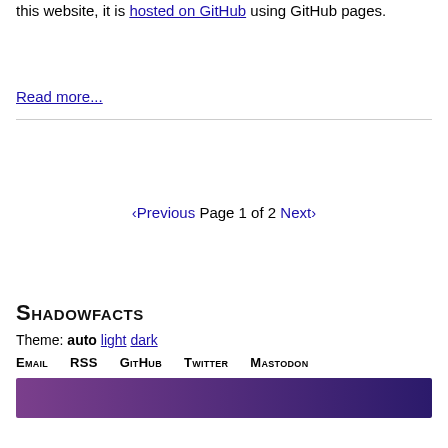this website, it is hosted on GitHub using GitHub pages.
Read more...
‹Previous Page 1 of 2 Next›
Shadowfacts
Theme: auto light dark
Email  RSS  GitHub  Twitter  Mastodon
[Figure (illustration): Gradient bar transitioning from purple on the left to dark navy blue on the right]